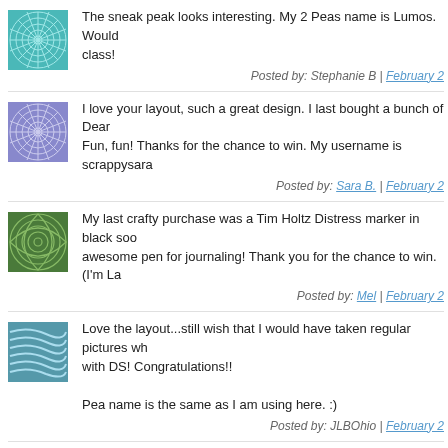The sneak peak looks interesting. My 2 Peas name is Lumos. Would love to take this class!
Posted by: Stephanie B | February 2...
I love your layout, such a great design. I last bought a bunch of Dear... Fun, fun! Thanks for the chance to win. My username is scrappysara...
Posted by: Sara B. | February 2...
My last crafty purchase was a Tim Holtz Distress marker in black soo... awesome pen for journaling! Thank you for the chance to win. (I'm La...
Posted by: Mel | February 2...
Love the layout...still wish that I would have taken regular pictures wh... with DS! Congratulations!!

Pea name is the same as I am using here. :)
Posted by: JLBOhio | February 2...
Just today I got some terrific pockets by Colorbok and kiMemories. Thanks for the chance to win!
clmk523
Posted by: Connie | February 2...